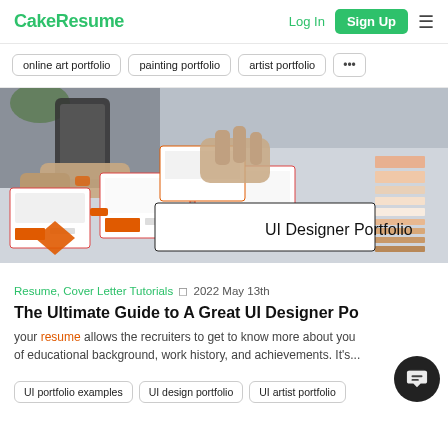CakeResume   Log In   Sign Up
online art portfolio
painting portfolio
artist portfolio
...
[Figure (photo): Hands arranging UI wireframe cards on a table with phone; overlay text reads UI Designer Portfolio]
Resume, Cover Letter Tutorials · 2022 May 13th
The Ultimate Guide to A Great UI Designer Po...
your resume allows the recruiters to get to know more about you of educational background, work history, and achievements. It's...
UI portfolio examples
UI design portfolio
UI artist portfolio